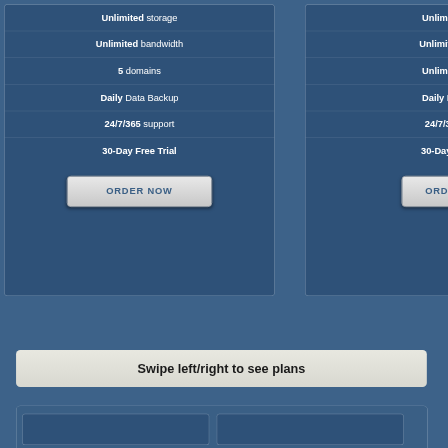Unlimited storage
Unlimited bandwidth
5 domains
Daily Data Backup
24/7/365 support
30-Day Free Trial
ORDER NOW
Unlimited (truncated right column)
Swipe left/right to see plans